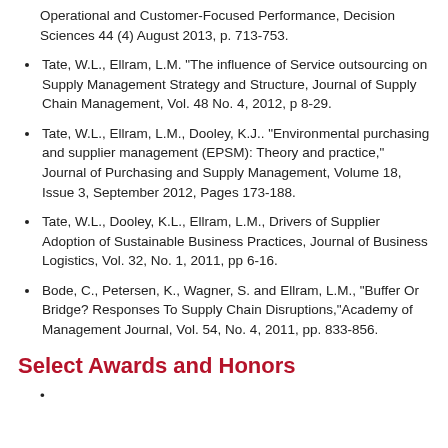Operational and Customer-Focused Performance, Decision Sciences 44 (4) August 2013, p. 713-753.
Tate, W.L., Ellram, L.M. "The influence of Service outsourcing on Supply Management Strategy and Structure, Journal of Supply Chain Management, Vol. 48 No. 4, 2012, p 8-29.
Tate, W.L., Ellram, L.M., Dooley, K.J.. "Environmental purchasing and supplier management (EPSM): Theory and practice," Journal of Purchasing and Supply Management, Volume 18, Issue 3, September 2012, Pages 173-188.
Tate, W.L., Dooley, K.L., Ellram, L.M., Drivers of Supplier Adoption of Sustainable Business Practices, Journal of Business Logistics, Vol. 32, No. 1, 2011, pp 6-16.
Bode, C., Petersen, K., Wagner, S. and Ellram, L.M., "Buffer Or Bridge? Responses To Supply Chain Disruptions,"Academy of Management Journal, Vol. 54, No. 4, 2011, pp. 833-856.
Select Awards and Honors
(partial, bottom cut off)